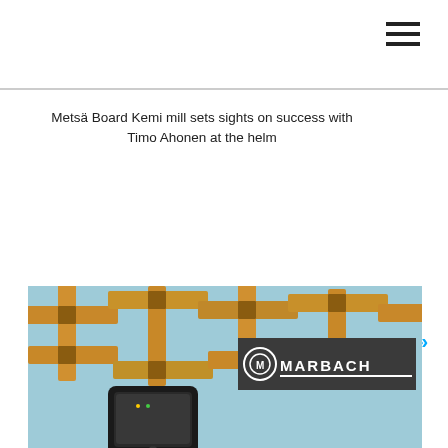Metsä Board Kemi mill sets sights on success with Timo Ahonen at the helm
Category   Corrugated Packaging
[Figure (photo): Group photo of people outdoors]
Marbach at drupa
AR Metallizing Announces Acquisition of Eurofoil
[Figure (photo): Large image showing wooden cross-shaped packaging pieces on a light blue background, with a smartphone in the foreground and a Marbach logo overlay in the upper right corner of the image]